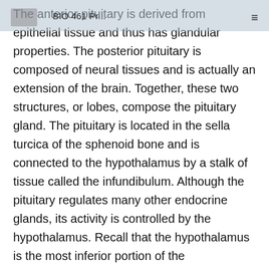BIO 461 Pr...
The anterior pituitary is derived from epithelial tissue and thus has glandular properties. The posterior pituitary is composed of neural tissues and is actually an extension of the brain. Together, these two structures, or lobes, compose the pituitary gland. The pituitary is located in the sella turcica of the sphenoid bone and is connected to the hypothalamus by a stalk of tissue called the infundibulum. Although the pituitary regulates many other endocrine glands, its activity is controlled by the hypothalamus. Recall that the hypothalamus is the most inferior portion of the diencephalon and sits directly above the pituitary. The hypothalamus has the essential role of functioning as the interface between the nervous system and the endocrine